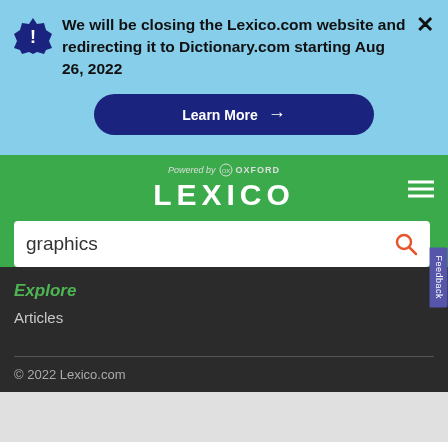We will be closing the Lexico.com website and redirecting it to Dictionary.com starting Aug 26, 2022
Learn More →
[Figure (logo): Lexico powered by Oxford logo on green background with hamburger menu]
graphics
Explore
Articles
© 2022 Lexico.com